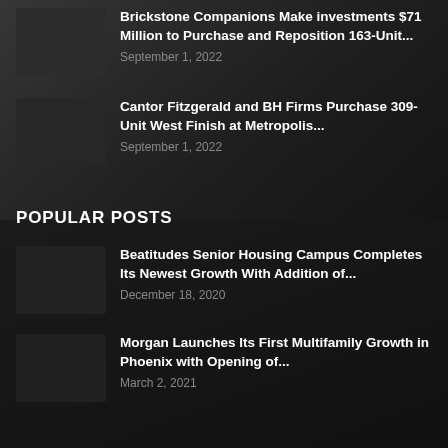Brickstone Companions Make investments $71 Million to Purchase and Reposition 163-Unit...
September 1, 2022
Cantor Fitzgerald and BH Firms Purchase 309-Unit West Finish at Metropolis...
September 1, 2022
POPULAR POSTS
Beatitudes Senior Housing Campus Completes Its Newest Growth With Addition of...
December 18, 2020
Morgan Launches Its First Multifamily Growth in Phoenix with Opening of...
March 2, 2021